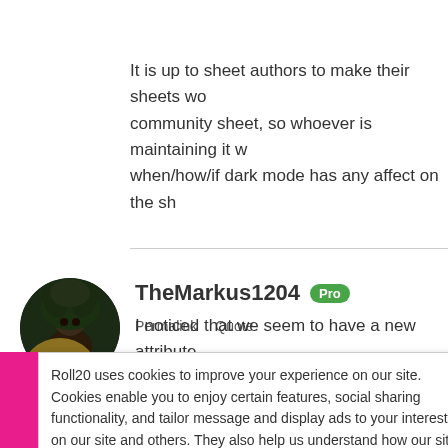It is up to sheet authors to make their sheets work with dark mode. This is a community sheet, so whoever is maintaining it would need to determine when/how/if dark mode has any affect on the sheet.
TheMarkus1204 Pro
Permalink  Quote
Will those Dark mode issues be fixed in the nea...
Roll20 uses cookies to improve your experience on our site. Cookies enable you to enjoy certain features, social sharing functionality, and tailor message and display ads to your interests on our site and others. They also help us understand how our site is being used. By continuing to use our site, you consent to our use of cookies. Update your cookie preferences here.
I noticed that we seem to have a new attribute, appears on the NPC sheet. That's great, but it d...